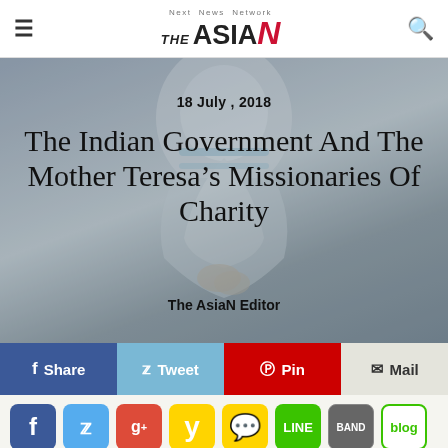Next News Network THE ASIAN
[Figure (photo): Hero image of Mother Teresa in white and blue habit with hands clasped, overlaid with article date, title, and author]
18 July , 2018
The Indian Government And The Mother Teresa's Missionaries Of Charity
The AsiaN Editor
f Share  Tweet  Pin  Mail
[Figure (infographic): Social media sharing icons row: Facebook, Twitter, Google+, Yahoo, Chat, LINE, BAND, Blog]
[Figure (photo): Bottom partial image of Mother Teresa]